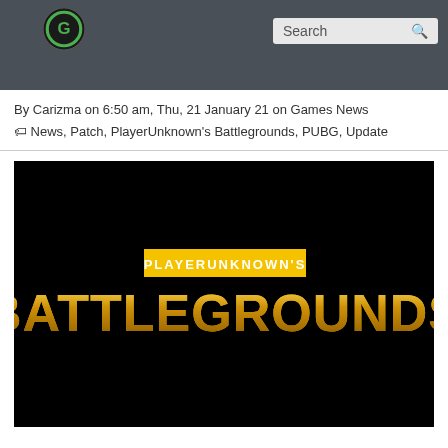Search
By Carizma on 6:50 am, Thu, 21 January 21 on Games News
News, Patch, PlayerUnknown's Battlegrounds, PUBG, Update
[Figure (photo): PlayerUnknown's Battlegrounds (PUBG) logo on black background — 'PLAYERUNKNOWN'S' in a yellow rectangle above large golden distressed 'BATTLEGROUNDS' text]